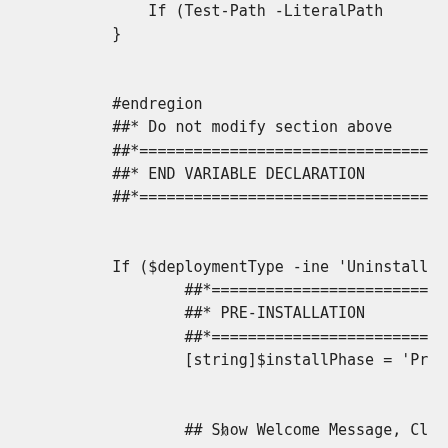If (Test-Path -LiteralPath
}

#endregion
##* Do not modify section above
##*===================================
##* END VARIABLE DECLARATION
##*===================================

If ($deploymentType -ine 'Uninstall
        ##*========================
        ##* PRE-INSTALLATION
        ##*========================
        [string]$installPhase = 'Pr

        ## Show Welcome Message, Cl